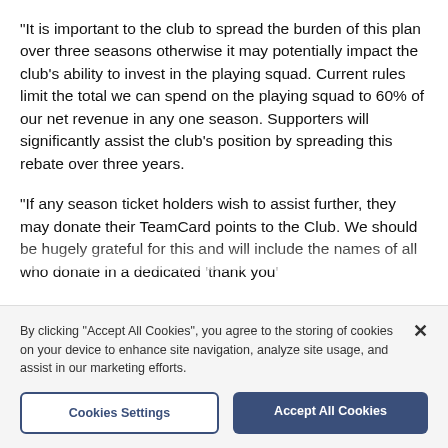"It is important to the club to spread the burden of this plan over three seasons otherwise it may potentially impact the club's ability to invest in the playing squad. Current rules limit the total we can spend on the playing squad to 60% of our net revenue in any one season. Supporters will significantly assist the club's position by spreading this rebate over three years.
"If any season ticket holders wish to assist further, they may donate their TeamCard points to the Club. We should be hugely grateful for this and will include the names of all who donate in a dedicated ‘thank you’
By clicking "Accept All Cookies", you agree to the storing of cookies on your device to enhance site navigation, analyze site usage, and assist in our marketing efforts.
Cookies Settings
Accept All Cookies